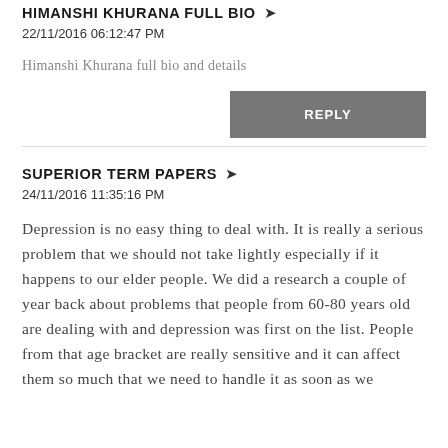HIMANSHI KHURANA FULL BIO ➤
22/11/2016 06:12:47 PM
Himanshi Khurana full bio and details
REPLY
SUPERIOR TERM PAPERS ➤
24/11/2016 11:35:16 PM
Depression is no easy thing to deal with. It is really a serious problem that we should not take lightly especially if it happens to our elder people. We did a research a couple of year back about problems that people from 60-80 years old are dealing with and depression was first on the list. People from that age bracket are really sensitive and it can affect them so much that we need to handle it as soon as we